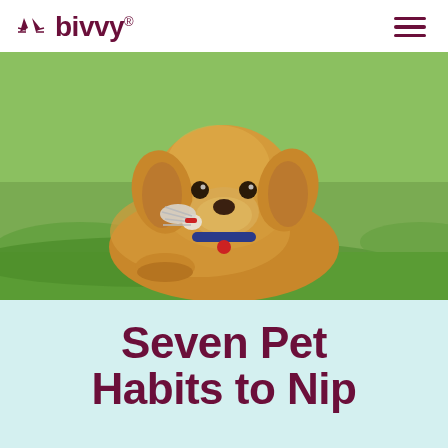bivvy®
[Figure (photo): Golden retriever puppy lying on green grass holding a badminton shuttlecock in its mouth, looking at the camera]
Seven Pet Habits to Nip